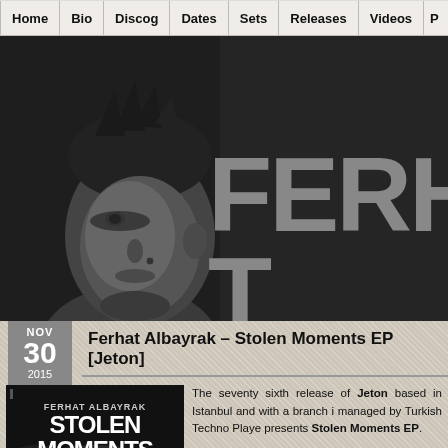Home | Bio | Discog | Dates | Sets | Releases | Videos | P
[Figure (photo): Black and white hero banner showing a man's face on the left side with large bold text 'FERHAT' on the right side in grey on dark background]
Ferhat Albayrak – Stolen Moments EP [Jeton]
[Figure (photo): Album cover for 'Stolen Moments EP' by Ferhat Albayrak, black and white, showing text FERHAT ALBAYRAK STOLEN MOMENTS EP]
The seventy sixth release of Jeton based in Istanbul and with a branch i managed by Turkish Techno Playe presents Stolen Moments EP.
Name Track of the EP, Stolen Mo different layer of synths as a harmony